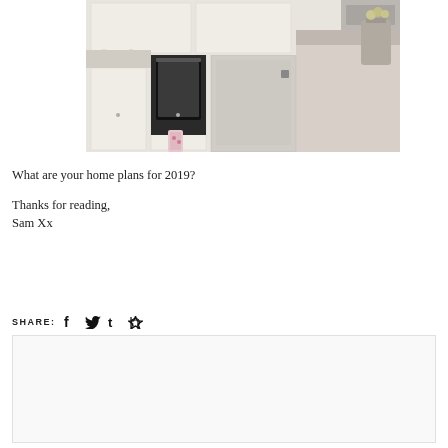[Figure (photo): Kitchen interior showing white cabinets, a gas hob, oven with a floral oven glove, wooden floor, marble worktop, and a grey pot with flowers on the right.]
What are your home plans for 2019?
Thanks for reading,
Sam Xx
SHARE: [Facebook] [Twitter] [Tumblr] [Pinterest]